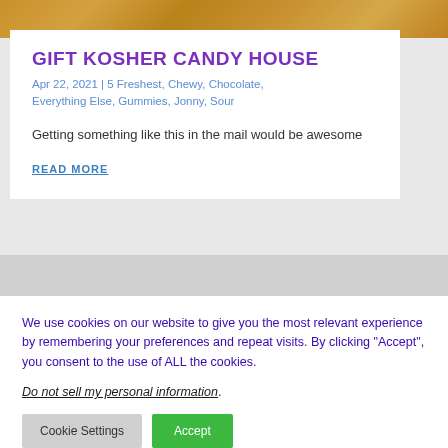[Figure (photo): Wood grain texture background image at top of page]
GIFT KOSHER CANDY HOUSE
Apr 22, 2021 | 5 Freshest, Chewy, Chocolate, Everything Else, Gummies, Jonny, Sour
Getting something like this in the mail would be awesome
READ MORE
We use cookies on our website to give you the most relevant experience by remembering your preferences and repeat visits. By clicking “Accept”, you consent to the use of ALL the cookies.
Do not sell my personal information.